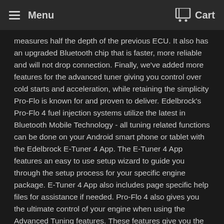Menu  Cart
measures half the depth of the previous ECU. It also has an upgraded Bluetooth chip that is faster, more reliable and will not drop connection. Finally, we've added more features for the advanced tuner giving you control over cold starts and acceleration, while retaining the simplicity Pro-Flo is known for and proven to deliver. Edelbrock's Pro-Flo 4 fuel injection systems utilize the latest in Bluetooth Mobile Technology - all tuning related functions can be done on your Android smart phone or tablet with the Edelbrock E-Tuner 4 App. The E-Tuner 4 App features an easy to use setup wizard to guide you through the setup process for your specific engine package. E-Tuner 4 App also includes page specific help files for assistance if needed. Pro-Flo 4 also gives you the ultimate control of your engine when using the Advanced Tuning features. These features give you the ability to easily adjust your ignition curve specifically for your engine setup,